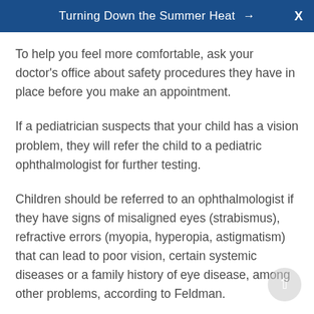Turning Down the Summer Heat →  X
To help you feel more comfortable, ask your doctor's office about safety procedures they have in place before you make an appointment.
If a pediatrician suspects that your child has a vision problem, they will refer the child to a pediatric ophthalmologist for further testing.
Children should be referred to an ophthalmologist if they have signs of misaligned eyes (strabismus), refractive errors (myopia, hyperopia, astigmatism) that can lead to poor vision, certain systemic diseases or a family history of eye disease, among other problems, according to Feldman.
Notify your health care provider if you think you have COVID-19 and follow their instructions.